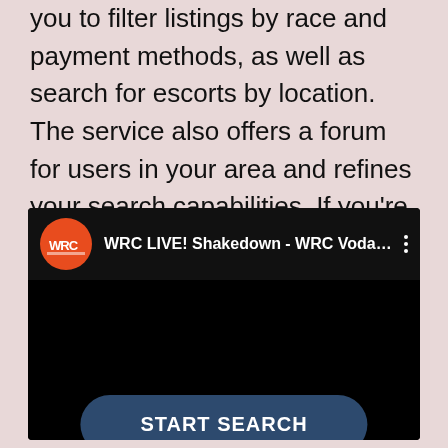you to filter listings by race and payment methods, as well as search for escorts by location. The service also offers a forum for users in your area and refines your search capabilities. If you're in a hurry, try Adult Search out today. You'll be glad you did!
[Figure (screenshot): YouTube-style video embed showing WRC LIVE! Shakedown - WRC Voda... with WRC logo (orange circle) and a START SEARCH button overlay at the bottom]